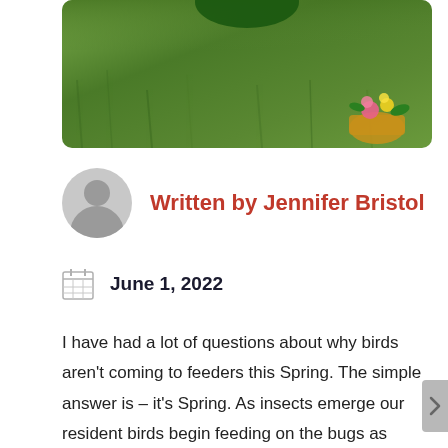[Figure (photo): Outdoor photo showing green grass background with a colorful flower basket in the lower right. A dark green shape visible at the top center.]
Written by Jennifer Bristol
June 1, 2022
I have had a lot of questions about why birds aren't coming to feeders this Spring. The simple answer is – it's Spring. As insects emerge our resident birds begin feeding on the bugs as they prepare to breed and raise their chicks. Some species, such as Blue Jays and White-winged Doves, might still mix their protein-rich insect diet with seeds, but for the most part they will happily eat the bugs we find annoying. As for the songbirds on the Spring